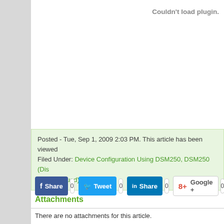Couldn't load plugin.
Posted - Tue, Sep 1, 2009 2:03 PM. This article has been viewed. Filed Under: Device Configuration Using DSM250, DSM250 (Discontinued)
Share 0  Tweet 0  Share 0  Google + 0
Attachments
There are no attachments for this article.